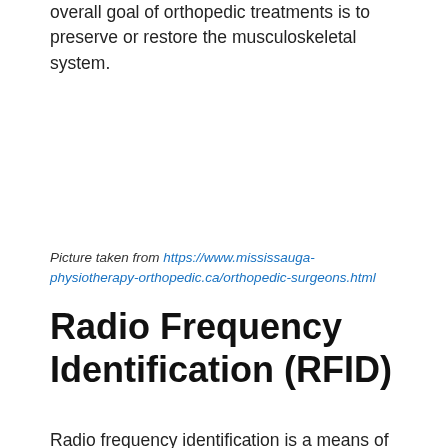overall goal of orthopedic treatments is to preserve or restore the musculoskeletal system.
Picture taken from https://www.mississauga-physiotherapy-orthopedic.ca/orthopedic-surgeons.html
Radio Frequency Identification (RFID)
Radio frequency identification is a means of keeping track of